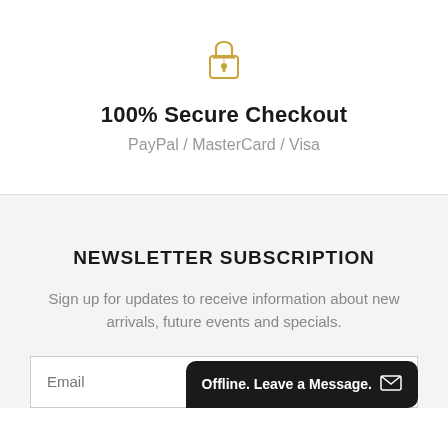[Figure (illustration): Golden/yellow padlock icon centered on white background]
100% Secure Checkout
PayPal / MasterCard / Visa
NEWSLETTER SUBSCRIPTION
Sign up for updates to receive information about new arrivals, future events and specials.
Email
Offline. Leave a Message.